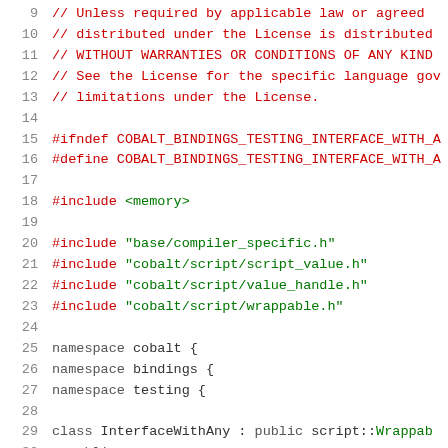Source code file showing C++ header with license comments, preprocessor directives, include statements, namespace declarations, and class definition beginning at lines 9-30.